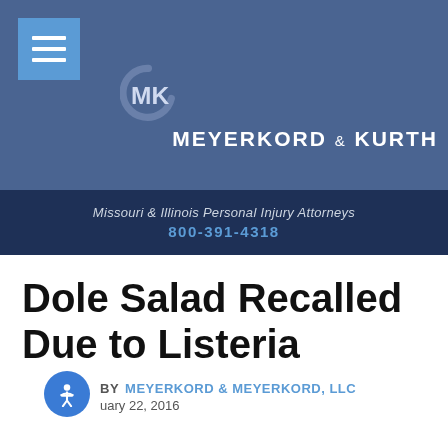[Figure (logo): Meyerkord & Kurth law firm logo with MK monogram and circular arc on blue banner background, with hamburger menu button]
Missouri & Illinois Personal Injury Attorneys
800-391-4318
Dole Salad Recalled Due to Listeria
BY MEYERKORD & MEYERKORD, LLC
January 22, 2016